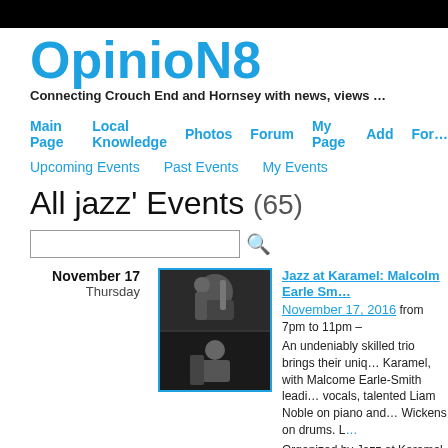OpinioN8
Connecting Crouch End and Hornsey with news, views …
Main Page | Local Knowledge | Photos | Forum | My Page | Add | For…
Upcoming Events | Past Events | My Events
All jazz' Events (65)
[Figure (photo): Black and white photo of jazz musicians, two panels showing a trumpeter and another musician]
Jazz at Karamel: Malcolm Earle Sm…
November 17, 2016 from 7pm to 11pm –
An undeniably skilled trio brings their uniq… Karamel, with Malcome Earle-Smith leadi… vocals, talented Liam Noble on piano and… Wickens on drums. L…
Organized by Jazz at Karamel | Type: 'ja… haringey', at, karamel, 'thursday, jazz', 'n… 'haringey, 'music, 'karamel', 'karamel…